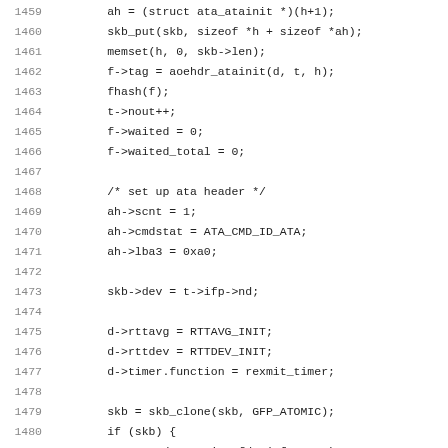[Figure (screenshot): Source code listing in monospace font showing C code lines 1459-1491, including function body with skb operations, ata header setup, timer initialization, skb_clone, and start of grow_targets function.]